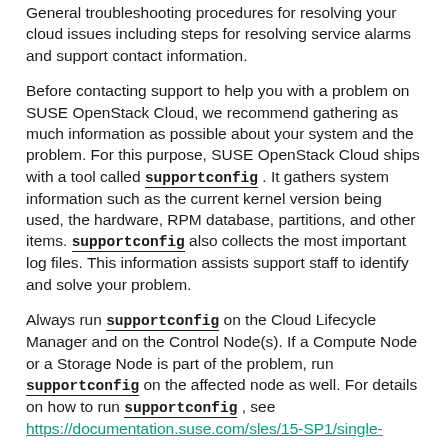General troubleshooting procedures for resolving your cloud issues including steps for resolving service alarms and support contact information.
Before contacting support to help you with a problem on SUSE OpenStack Cloud, we recommend gathering as much information as possible about your system and the problem. For this purpose, SUSE OpenStack Cloud ships with a tool called supportconfig . It gathers system information such as the current kernel version being used, the hardware, RPM database, partitions, and other items. supportconfig also collects the most important log files. This information assists support staff to identify and solve your problem.
Always run supportconfig on the Cloud Lifecycle Manager and on the Control Node(s). If a Compute Node or a Storage Node is part of the problem, run supportconfig on the affected node as well. For details on how to run supportconfig , see https://documentation.suse.com/sles/15-SP1/single-